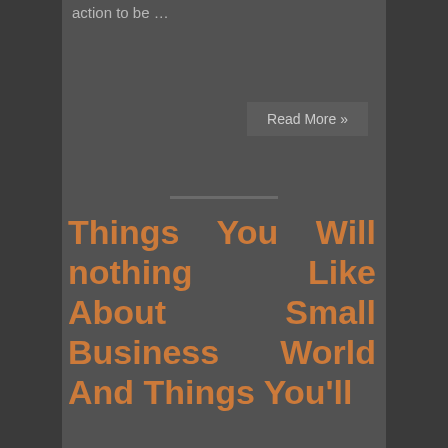action to be …
Read More »
Things You Will nothing Like About Small Business World And Things You'll
June 28, 2022  Leave a comment
[Figure (illustration): Three emojis: sun, light bulb, pointing hand]
You know that the way you run your business works, but may very well be